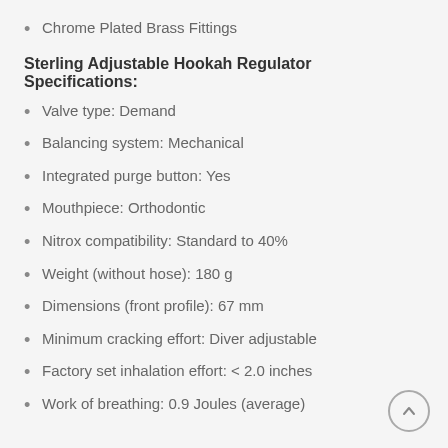Chrome Plated Brass Fittings
Sterling Adjustable Hookah Regulator Specifications:
Valve type: Demand
Balancing system: Mechanical
Integrated purge button: Yes
Mouthpiece: Orthodontic
Nitrox compatibility: Standard to 40%
Weight (without hose): 180 g
Dimensions (front profile): 67 mm
Minimum cracking effort: Diver adjustable
Factory set inhalation effort: < 2.0 inches
Work of breathing: 0.9 Joules (average)